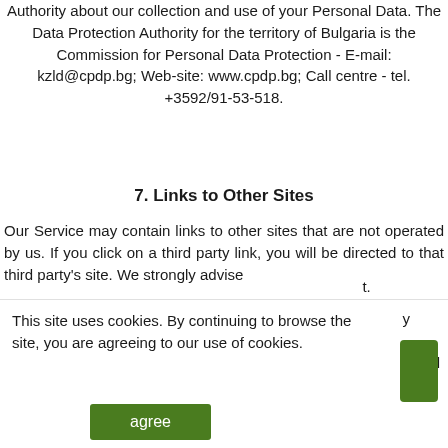Authority about our collection and use of your Personal Data. The Data Protection Authority for the territory of Bulgaria is the Commission for Personal Data Protection - E-mail: kzld@cpdp.bg; Web-site: www.cpdp.bg; Call centre - tel. +3592/91-53-518.
7. Links to Other Sites
Our Service may contain links to other sites that are not operated by us. If you click on a third party link, you will be directed to that third party's site. We strongly advise
This site uses cookies. By continuing to browse the site, you are agreeing to our use of cookies.
agree